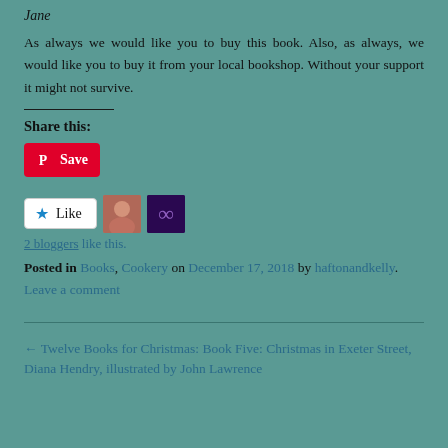Jane
As always we would like you to buy this book. Also, as always, we would like you to buy it from your local bookshop. Without your support it might not survive.
Share this:
[Figure (other): Pinterest Save button (red rounded button with Pinterest logo and 'Save' text)]
[Figure (other): WordPress Like button with star icon and 'Like' text, followed by two blogger avatar images]
2 bloggers like this.
Posted in Books, Cookery on December 17, 2018 by haftonandkelly.
Leave a comment
← Twelve Books for Christmas: Book Five: Christmas in Exeter Street, Diana Hendry, illustrated by John Lawrence